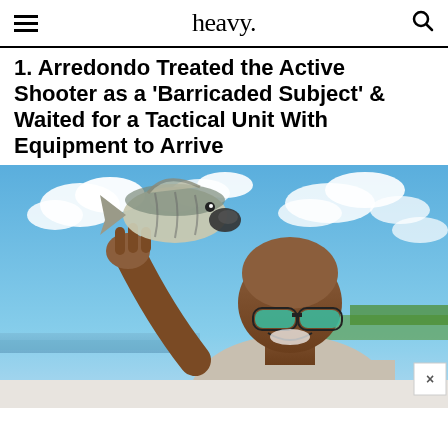heavy.
1. Arredondo Treated the Active Shooter as a 'Barricaded Subject' & Waited for a Tactical Unit With Equipment to Arrive
[Figure (photo): A man with sunglasses and a shaved head smiles while holding up a large fish (bass) against a bright blue sky with white clouds. Water and green landscape visible in the background.]